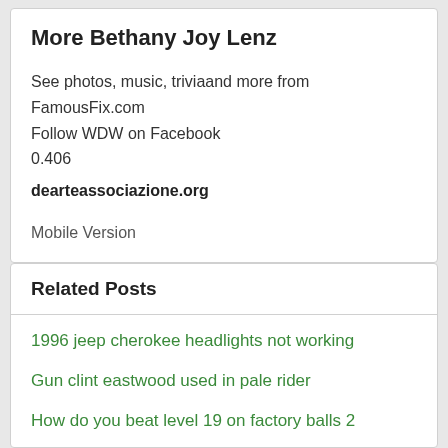More Bethany Joy Lenz
See photos, music, triviaand more from FamousFix.com
Follow WDW on Facebook
0.406
dearteassociazione.org
Mobile Version
Related Posts
1996 jeep cherokee headlights not working
Gun clint eastwood used in pale rider
How do you beat level 19 on factory balls 2